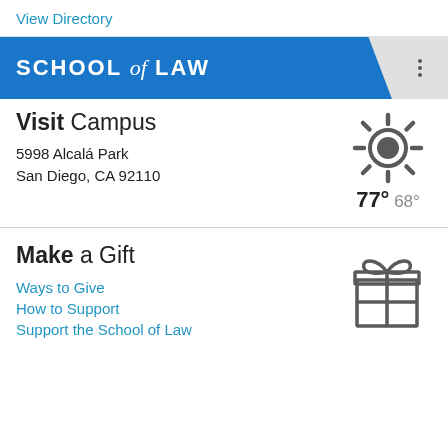View Directory
SCHOOL of LAW
Visit Campus
5998 Alcalá Park
San Diego, CA 92110
[Figure (illustration): Sun weather icon showing sunny weather]
77° 68°
Make a Gift
Ways to Give
How to Support
Support the School of Law
[Figure (illustration): Gift box icon with bow on top]